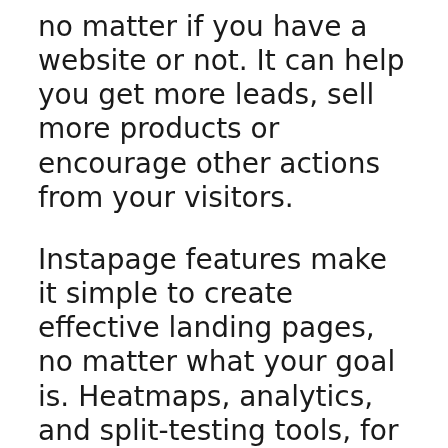no matter if you have a website or not. It can help you get more leads, sell more products or encourage other actions from your visitors.
Instapage features make it simple to create effective landing pages, no matter what your goal is. Heatmaps, analytics, and split-testing tools, for example, allow you to use visitor data to improve the effectiveness of your landing page designs.
Before we move on to the section that explains exactly what Instapage does, how they interact and whether